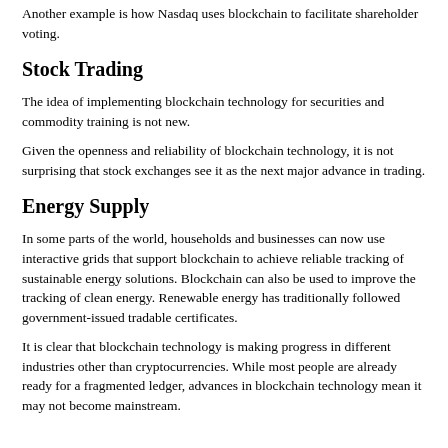Another example is how Nasdaq uses blockchain to facilitate shareholder voting.
Stock Trading
The idea of implementing blockchain technology for securities and commodity training is not new.
Given the openness and reliability of blockchain technology, it is not surprising that stock exchanges see it as the next major advance in trading.
Energy Supply
In some parts of the world, households and businesses can now use interactive grids that support blockchain to achieve reliable tracking of sustainable energy solutions. Blockchain can also be used to improve the tracking of clean energy. Renewable energy has traditionally followed government-issued tradable certificates.
It is clear that blockchain technology is making progress in different industries other than cryptocurrencies. While most people are already ready for a fragmented ledger, advances in blockchain technology mean it may not become mainstream.